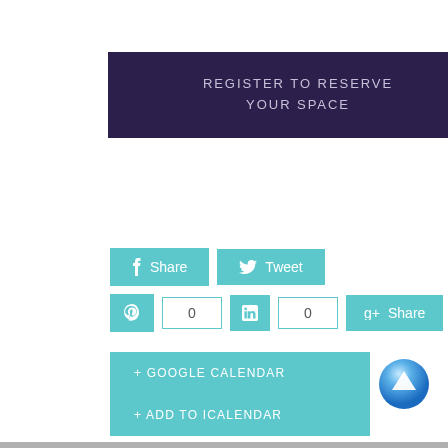REGISTER TO RESERVE YOUR SPACE
[Figure (screenshot): Social share buttons: Facebook Share, Twitter Tweet, Pinterest with count 0, LinkedIn with count 0, Google+ Share]
+ GOOGLE CALENDAR
+ ADD TO ICALENDAR
[Figure (illustration): Blue glossy circular up-arrow button]